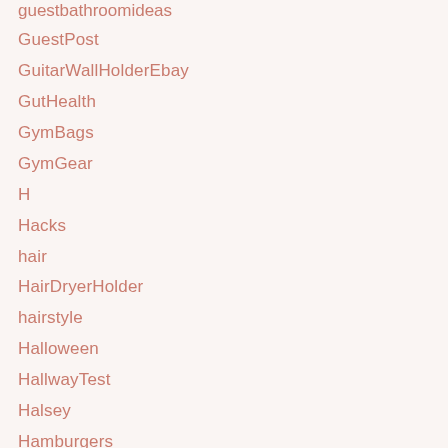guestbathroomideas
GuestPost
GuitarWallHolderEbay
GutHealth
GymBags
GymGear
H
Hacks
hair
HairDryerHolder
hairstyle
Halloween
HallwayTest
Halsey
Hamburgers